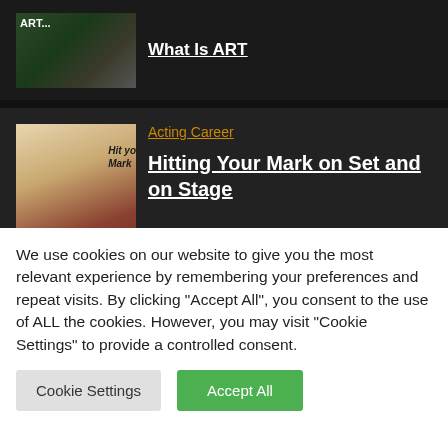[Figure (screenshot): Thumbnail image showing person with 'ART...' text]
What Is ART
[Figure (illustration): Illustration of bearded man with boxing glove, text 'Hit yo Mark']
Acting Career
Hitting Your Mark on Set and on Stage
[Figure (photo): Partial thumbnail with blue background and person]
Acting Career
We use cookies on our website to give you the most relevant experience by remembering your preferences and repeat visits. By clicking "Accept All", you consent to the use of ALL the cookies. However, you may visit "Cookie Settings" to provide a controlled consent.
Cookie Settings
Accept All